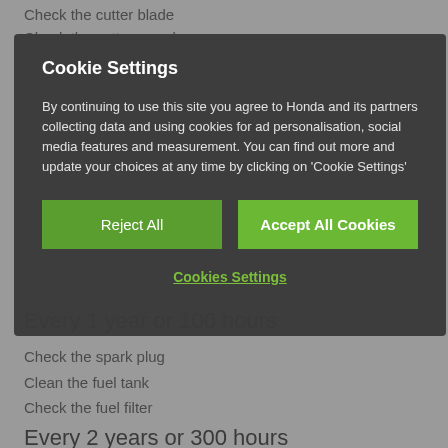Check the cutter blade
Check the cutter guard
Cookie Settings
By continuing to use this site you agree to Honda and its partners collecting data and using cookies for ad personalisation, social media features and measurement. You can find out more and update your choices at any time by clicking on 'Cookie Settings'
Reject All
Accept All Cookies
Cookies Settings
Every 1 year or 100 hours
Check the spark plug
Clean the fuel tank
Check the fuel filter
Every 2 years or 300 hours